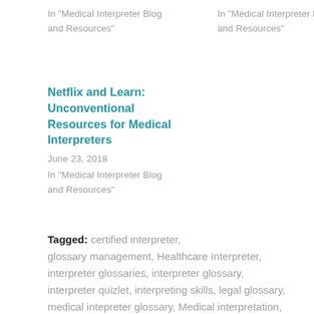In "Medical Interpreter Blog and Resources"
In "Medical Interpreter Blog and Resources"
Netflix and Learn: Unconventional Resources for Medical Interpreters
June 23, 2018
In "Medical Interpreter Blog and Resources"
Tagged:   certified interpreter,  glossary management,  Healthcare Interpreter,  interpreter glossaries,  interpreter glossary,  interpreter quizlet,  interpreting skills,  legal glossary,  medical intepreter glossary,  Medical interpretation,